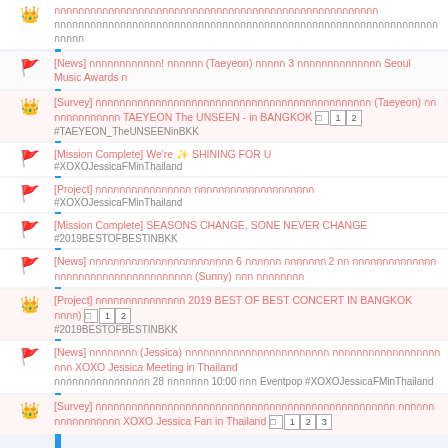[crown icon] Thai text...
[News] Thai text ... Taeyeon ... 3 ... Seoul Music Awards ...
[Survey] Thai text ... Taeyeon ... TAEYEON The UNSEEN - in BANGKOK [1][2] #TAEYEON_TheUNSEENinBKK
[Mission Complete] We're ✨ SHINING FOR U #XOXOJessicaFMinThailand
[Project] Thai text #XOXOJessicaFMinThailand
[Mission Complete] SEASONS CHANGE, SONE NEVER CHANGE #2019BESTOFBESTINBKK
[News] Thai text ... 6 ... 2 ... Sunny ... Thai text
[Project] Thai text 2019 BEST OF BEST CONCERT IN BANGKOK ... [1][2] #2019BESTOFBESTINBKK
[News] Thai text ... Jessica ... XOXO Jessica Meeting in Thailand Thai text 28 ... 10:00 ... Eventpop #XOXOJessicaFMinThailand
[Survey] Thai text ... XOXO Jessica Fan in Thailand [1][2][3]